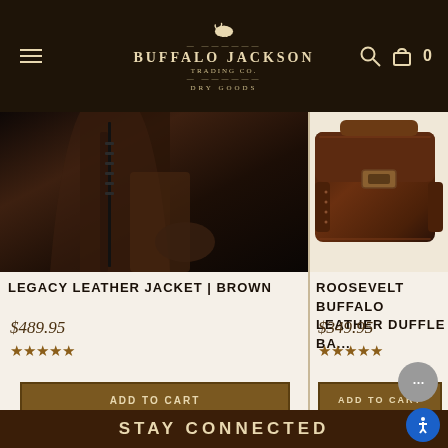Buffalo Jackson Trading Co. — Dry Goods
[Figure (photo): Dark brown leather jacket close-up showing zipper and lapel detail]
LEGACY LEATHER JACKET | BROWN
$489.95
★★★★★ (5 stars)
ADD TO CART
[Figure (photo): Roosevelt Buffalo leather duffle bag in dark brown, showing buckle and strap details]
ROOSEVELT BUFFALO LEATHER DUFFLE BAG
$349.95
★★★★★ (4.5 stars)
ADD TO CART
STAY CONNECTED